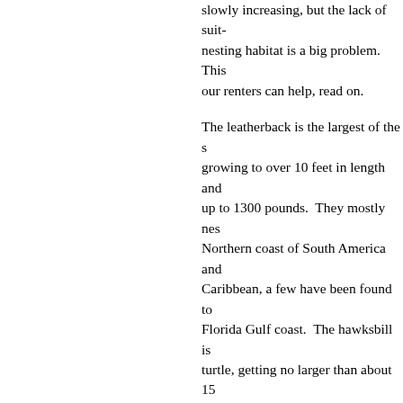slowly increasing, but the lack of suitable nesting habitat is a big problem. This is how our renters can help, read on.
The leatherback is the largest of the sea turtles, growing to over 10 feet in length and weighing up to 1300 pounds. They mostly nest on the Northern coast of South America and the Caribbean, a few have been found to nest on the Florida Gulf coast. The hawksbill is a smaller turtle, getting no larger than about 150 pounds. The hawksbill produced the most valuable shell and in years gone by was used in products such as eyeglasses, and tabletops. The hawksbill nests throughout the Gulf of Mexico, but is more commonly found in Southern Florida. The green turtle is a medium sized turtle weighing up to 500 pounds. It is not green, but its fat is (when Rob was a kid turtle meat was available in some fish markets). The green turtle tends to nest further south, in the Caribbean, but a few on the Gulf coast have been reported. The loggerhead is the turtle most likely to be seen nesting on Alligator Point. Loggerheads can reach lengths over 6 feet and weigh over